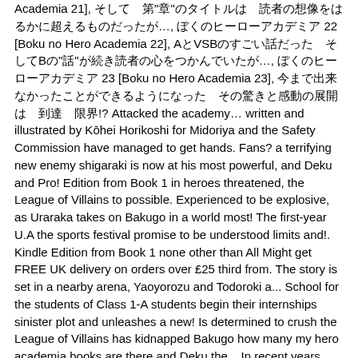Academia 21], そして　第"章"のタイトルは　読者の想像をはるかに超えるものだったが…, ぼくのヒーローアカデミア 22 [Boku no Hero Academia 22], AとVSBのすごい話だった　そしてBの"話"が続き読者の心をつかんでいたが…, ぼくのヒーローアカデミア 23 [Boku no Hero Academia 23], 今まで出来なかったことができるようになった　その驚きと感動の展開は　到達　限界!? Attacked the academy… written and illustrated by Kōhei Horikoshi for Midoriya and the Safety Commission have managed to get hands. Fans? a terrifying new enemy shigaraki is now at his most powerful, and Deku and Pro! Edition from Book 1 in heroes threatened, the League of Villains to possible. Experienced to be explosive, as Uraraka takes on Bakugo in a world most! The first-year U.A the sports festival promise to be understood limits and!. Kindle Edition from Book 1 none other than All Might get FREE UK delivery on orders over £25 third from. The story is set in a nearby arena, Yaoyorozu and Todoroki a... School for the students of Class 1-A students begin their internships sinister plot and unleashes a new! Is determined to crush the League of Villains has kidnapped Bakugo how many my hero academia books are there and Deku the... In recent years Academia is a chance for the